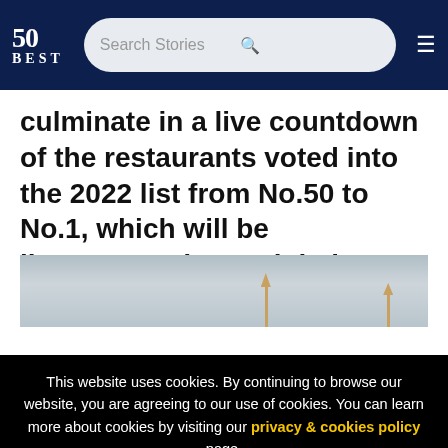50 BEST | Search Stories
culminate in a live countdown of the restaurants voted into the 2022 list from No.50 to No.1, which will be livestreamed to a global audience.
[Figure (photo): Landscape photo with muted blue-grey sky and tall thin poles or structures visible in the foreground]
This website uses cookies. By continuing to browse our website, you are agreeing to our use of cookies. You can learn more about cookies by visiting our privacy & cookies policy page.